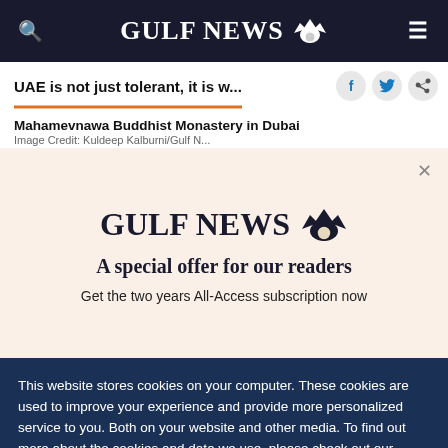GULF NEWS
UAE is not just tolerant, it is w...
Mahamevnawa Buddhist Monastery in Dubai
[Figure (screenshot): Gulf News subscription promo modal with logo and text: A special offer for our readers. Get the two years All-Access subscription now]
This website stores cookies on your computer. These cookies are used to improve your experience and provide more personalized service to you. Both on your website and other media. To find out more about the cookies and data we use, please check out our Privacy Policy.